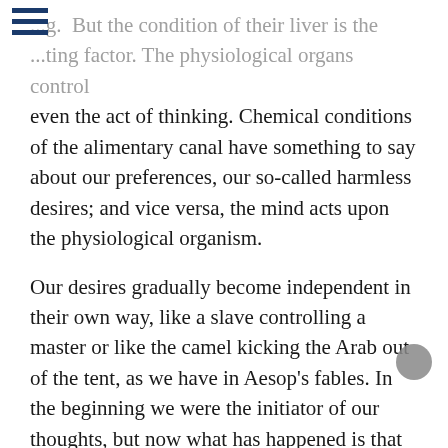...g. But the condition of their liver is the directing factor. The physiological organs control even the act of thinking. Chemical conditions of the alimentary canal have something to say about our preferences, our so-called harmless desires; and vice versa, the mind acts upon the physiological organism.
Our desires gradually become independent in their own way, like a slave controlling a master or like the camel kicking the Arab out of the tent, as we have in Aesop's fables. In the beginning we were the initiator of our thoughts, but now what has happened is that our thoughts direct us. We have to be under their thumb and act according to impulses over which we have no restraint whatsoever. This is to lose control over one's own self. And when